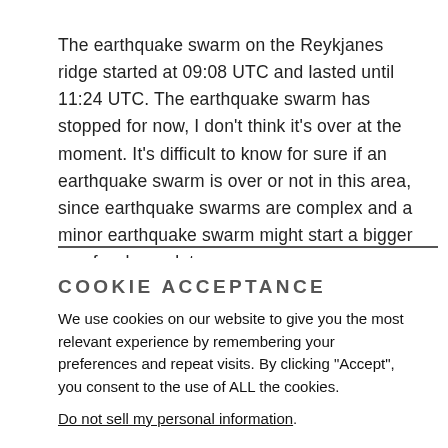The earthquake swarm on the Reykjanes ridge started at 09:08 UTC and lasted until 11:24 UTC. The earthquake swarm has stopped for now, I don't think it's over at the moment. It's difficult to know for sure if an earthquake swarm is over or not in this area, since earthquake swarms are complex and a minor earthquake swarm might start a bigger one few hours later.
COOKIE ACCEPTANCE
We use cookies on our website to give you the most relevant experience by remembering your preferences and repeat visits. By clicking "Accept", you consent to the use of ALL the cookies.
Do not sell my personal information.
Cookie settings   Accept Cookies